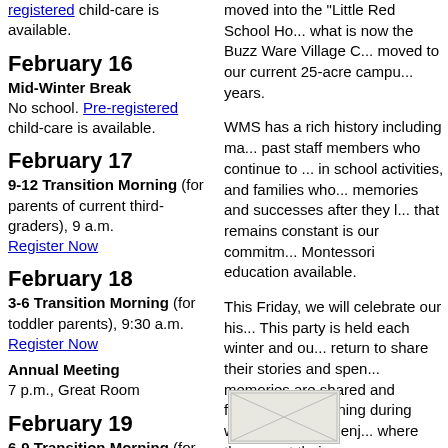registered child-care is available.
February 16
Mid-Winter Break
No school. Pre-registered child-care is available.
February 17
9-12 Transition Morning (for parents of current third-graders), 9 a.m.
Register Now
February 18
3-6 Transition Morning (for toddler parents), 9:30 a.m.
Register Now
Annual Meeting
7 p.m., Great Room
February 19
6-9 Transition Morning (for parents of current kindergartners & 5-7
moved into the "Little Red School Ho..." what is now the Buzz Ware Village C... moved to our current 25-acre campu... years.
WMS has a rich history including ma... past staff members who continue to ... in school activities, and families who... memories and successes after they l... that remains constant is our commitm... Montessori education available.
This Friday, we will celebrate our his... This party is held each winter and ou... return to share their stories and spen... memories are shared and friendships... evening during which our alumni enj... where they spent their younger years... and gained the enthusiasm, curiosity... on to their next adventures.
If you are an alumnus, please join us... promises to be another enjoyable ev... remembering its past and hearing ab... forward to reconnecting with you.
[Figure (photo): Small thumbnail image at bottom right]